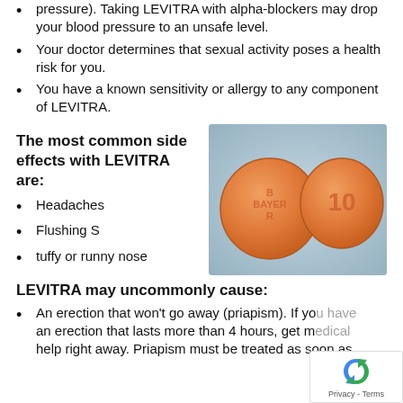pressure). Taking LEVITRA with alpha-blockers may drop your blood pressure to an unsafe level.
Your doctor determines that sexual activity poses a health risk for you.
You have a known sensitivity or allergy to any component of LEVITRA.
The most common side effects with LEVITRA are:
[Figure (photo): Two orange round Bayer Levitra 10mg pills on a blue-grey surface. Left pill shows BAYER text, right pill shows number 10.]
Headaches
Flushing S
tuffy or runny nose
LEVITRA may uncommonly cause:
An erection that won't go away (priapism). If you have an erection that lasts more than 4 hours, get medical help right away. Priapism must be treated as soon as